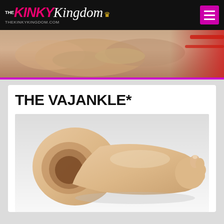THE KINKY Kingdom THEKINKYKINGDOM.COM
[Figure (photo): Hero banner image showing a close-up of a person in a red lingerie top]
THE VAJANKLE*
[Figure (photo): Product photo of a realistic foot/ankle masturbator sex toy on a white background]